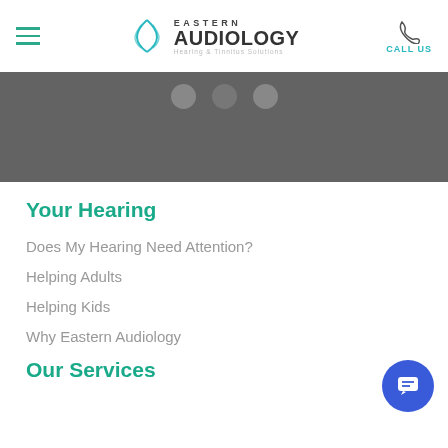Eastern Audiology – Hearing & Tinnitus Solutions
[Figure (screenshot): Dark navigation band with three circular dot indicators]
Your Hearing
Does My Hearing Need Attention?
Helping Adults
Helping Kids
Why Eastern Audiology
Our Services
[Figure (illustration): Blue circular chat button with message icon in bottom right corner]